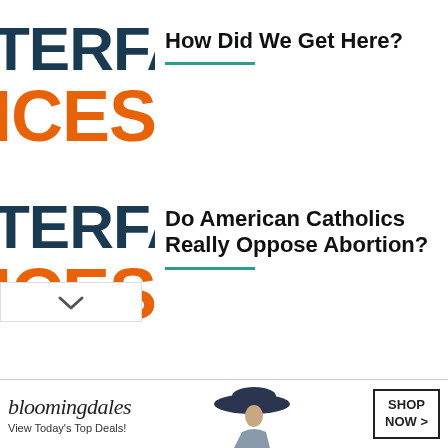[Figure (logo): INTERFACES logo — 'TERFA' in dark navy, 'ICES' in orange, partially cropped on left]
How Did We Get Here?
[Figure (logo): INTERFACES logo — 'TERFA' in dark navy, 'ICES' in orange, partially cropped on left]
Do American Catholics Really Oppose Abortion?
[Figure (logo): INTERFACES logo — 'TERFA' in dark navy, 'ICES' in orange, partially cropped on left]
Where Are We Going?
[Figure (screenshot): Bloomingdale's advertisement banner: 'View Today's Top Deals!' with woman in hat and SHOP NOW button]